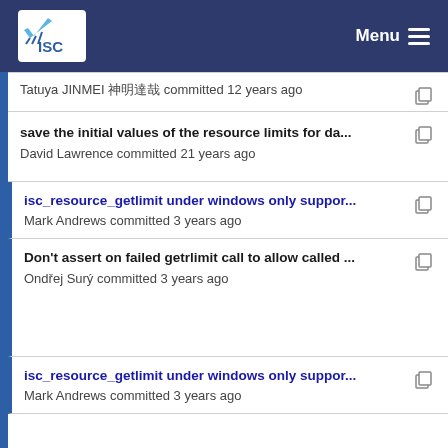ISC Menu
Tatuya JINMEI 神明達哉 committed 12 years ago
save the initial values of the resource limits for da...
David Lawrence committed 21 years ago
isc_resource_getlimit under windows only suppor...
Mark Andrews committed 3 years ago
Don't assert on failed getrlimit call to allow called ...
Ondřej Surý committed 3 years ago
isc_resource_getlimit under windows only suppor...
Mark Andrews committed 3 years ago